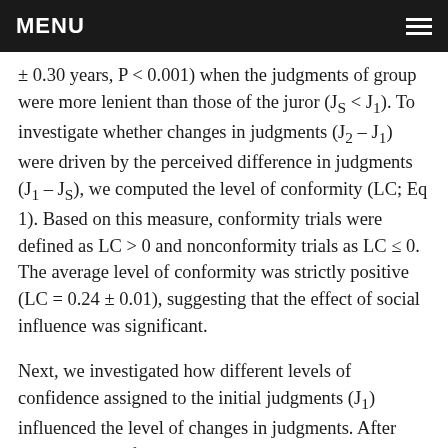MENU
± 0.30 years, P < 0.001) when the judgments of group were more lenient than those of the juror (J_S < J_1). To investigate whether changes in judgments (J_2 − J_1) were driven by the perceived difference in judgments (J_1 − J_S), we computed the level of conformity (LC; Eq 1). Based on this measure, conformity trials were defined as LC > 0 and nonconformity trials as LC ≤ 0. The average level of conformity was strictly positive (LC = 0.24 ± 0.01), suggesting that the effect of social influence was significant.
Next, we investigated how different levels of confidence assigned to the initial judgments (J_1) influenced the level of changes in judgments. After median splits of all trials based on each individual's confidence ratings, we